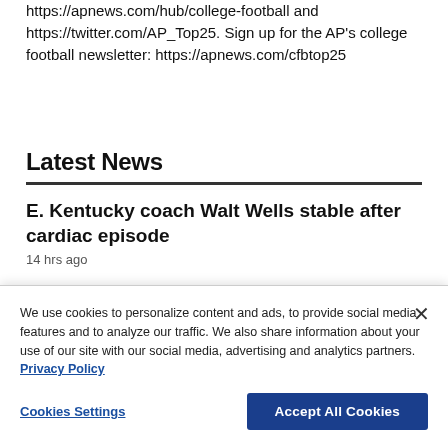https://apnews.com/hub/college-football and https://twitter.com/AP_Top25. Sign up for the AP's college football newsletter: https://apnews.com/cfbtop25
Latest News
E. Kentucky coach Walt Wells stable after cardiac episode
14 hrs ago
We use cookies to personalize content and ads, to provide social media features and to analyze our traffic. We also share information about your use of our site with our social media, advertising and analytics partners. Privacy Policy
Cookies Settings | Accept All Cookies